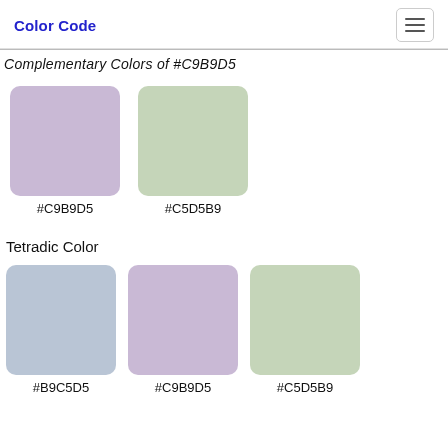Color Code
Complementary Colors of #C9B9D5
[Figure (illustration): Color swatch #C9B9D5 — a soft lavender/purple rectangle with rounded corners]
#C9B9D5
[Figure (illustration): Color swatch #C5D5B9 — a soft sage green rectangle with rounded corners]
#C5D5B9
Tetradic Color
[Figure (illustration): Color swatch #B9C5D5 — a soft blue-gray rectangle with rounded corners]
#B9C5D5
[Figure (illustration): Color swatch #C9B9D5 — a soft lavender/purple rectangle with rounded corners]
#C9B9D5
[Figure (illustration): Color swatch #C5D5B9 — a soft sage green rectangle with rounded corners]
#C5D5B9